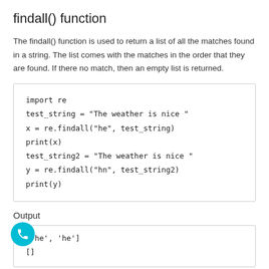findall() function
The findall() function is used to return a list of all the matches found in a string. The list comes with the matches in the order that they are found. If there no match, then an empty list is returned.
import re
test_string = "The weather is nice "
x = re.findall("he", test_string)
print(x)
test_string2 = "The weather is nice "
y = re.findall("hn", test_string2)
print(y)
Output
['he', 'he']
[]